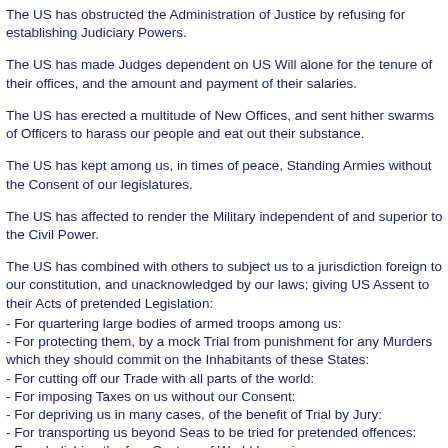The US has obstructed the Administration of Justice by refusing for establishing Judiciary Powers.
The US has made Judges dependent on US Will alone for the tenure of their offices, and the amount and payment of their salaries.
The US has erected a multitude of New Offices, and sent hither swarms of Officers to harass our people and eat out their substance.
The US has kept among us, in times of peace, Standing Armies without the Consent of our legislatures.
The US has affected to render the Military independent of and superior to the Civil Power.
The US has combined with others to subject us to a jurisdiction foreign to our constitution, and unacknowledged by our laws; giving US Assent to their Acts of pretended Legislation:
- For quartering large bodies of armed troops among us:
- For protecting them, by a mock Trial from punishment for any Murders which they should commit on the Inhabitants of these States:
- For cutting off our Trade with all parts of the world:
- For imposing Taxes on us without our Consent:
- For depriving us in many cases, of the benefit of Trial by Jury:
- For transporting us beyond Seas to be tried for pretended offences:
- For abolishing the free Custom of World Laws in our...